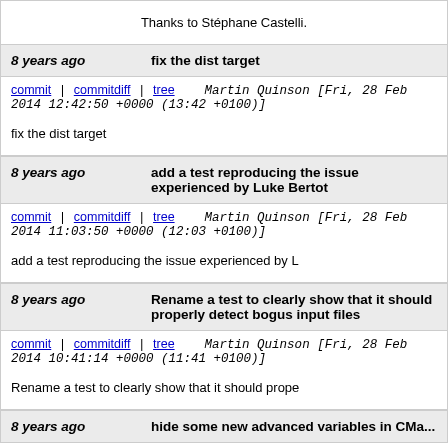Thanks to Stéphane Castelli.
8 years ago    fix the dist target
commit | commitdiff | tree    Martin Quinson [Fri, 28 Feb 2014 12:42:50 +0000 (13:42 +0100)]
fix the dist target
8 years ago    add a test reproducing the issue experienced by Luke Bertot
commit | commitdiff | tree    Martin Quinson [Fri, 28 Feb 2014 11:03:50 +0000 (12:03 +0100)]
add a test reproducing the issue experienced by L
8 years ago    Rename a test to clearly show that it should properly detect bogus input files
commit | commitdiff | tree    Martin Quinson [Fri, 28 Feb 2014 10:41:14 +0000 (11:41 +0100)]
Rename a test to clearly show that it should prope
8 years ago    hide some new advanced variables in CMa...